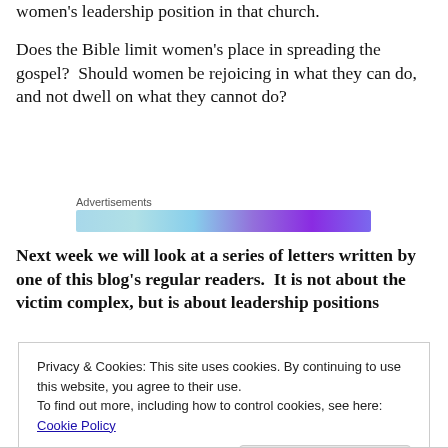women's leadership position in that church.
Does the Bible limit women's place in spreading the gospel?  Should women be rejoicing in what they can do, and not dwell on what they cannot do?
Advertisements
[Figure (other): Advertisement banner with colorful gradient and social media icons]
Next week we will look at a series of letters written by one of this blog's regular readers.  It is not about the victim complex, but is about leadership positions
Privacy & Cookies: This site uses cookies. By continuing to use this website, you agree to their use.
To find out more, including how to control cookies, see here: Cookie Policy
Close and accept